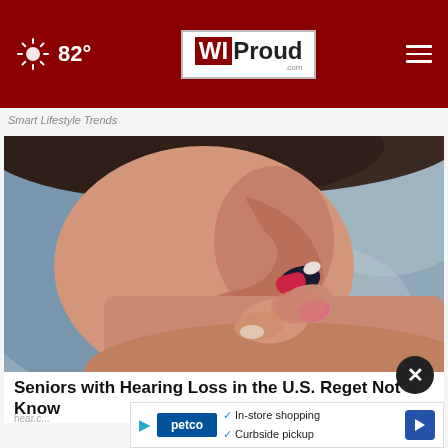82° WI Proud .com
Smart Lifestyle Trends
[Figure (photo): Close-up photo of a person inserting a small hearing aid into their ear, held between thumb and finger with pink fingernail polish visible.]
Seniors with Hearing Loss in the U.S. Regret Not Kno...
hear.c...
In-store shopping
Curbside pickup (Petco advertisement)